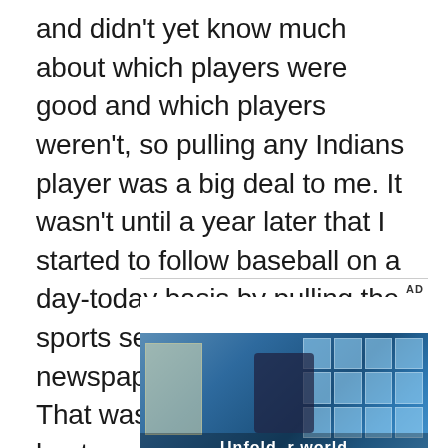and didn't yet know much about which players were good and which players weren't, so pulling any Indians player was a big deal to me. It wasn't until a year later that I started to follow baseball on a day-today basis by pulling the sports section of the newspaper each morning. That was 1987, which was the best year of Jacoby's career. I used to draw my own sports page too, and nothing seemed to appeal to me more for the front page photo than a third baseman diving for the ball, which means Brook Jacoby was often my muse.
[Figure (screenshot): Advertisement area with AD label, white space, and a video/image showing a person in front of blue glass building windows with text 'Unfold your world' at the bottom]